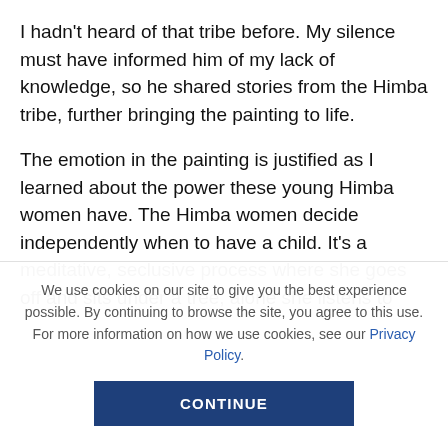I hadn't heard of that tribe before. My silence must have informed him of my lack of knowledge, so he shared stories from the Himba tribe, further bringing the painting to life.
The emotion in the painting is justified as I learned about the power these young Himba women have. The Himba women decide independently when to have a child. It's a meditative, seclusive process where she goes off and sits under a tree, alone she listens to
We use cookies on our site to give you the best experience possible. By continuing to browse the site, you agree to this use. For more information on how we use cookies, see our Privacy Policy.
CONTINUE